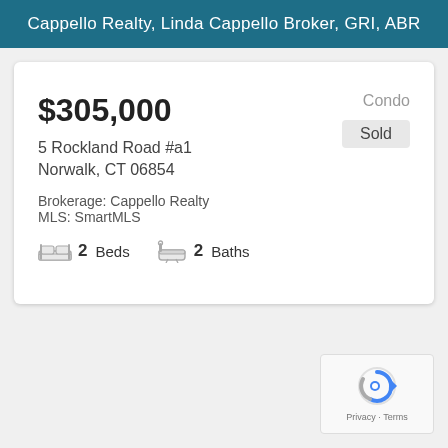Cappello Realty, Linda Cappello Broker, GRI, ABR
$305,000
Condo
Sold
5 Rockland Road #a1
Norwalk, CT 06854
Brokerage: Cappello Realty
MLS: SmartMLS
2 Beds  2 Baths
[Figure (logo): reCAPTCHA logo with Privacy - Terms text]